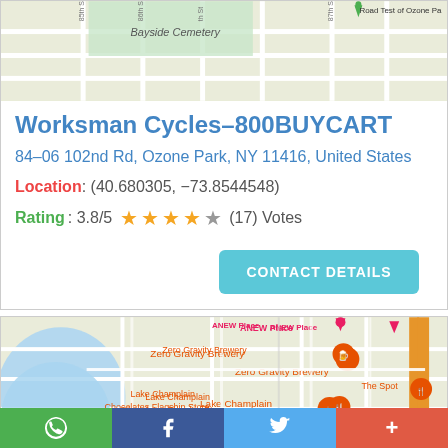[Figure (map): Google Maps screenshot showing Bayside Cemetery area with street grid]
Worksman Cycles–800BUYCART
84–06 102nd Rd, Ozone Park, NY 11416, United States
Location: (40.680305, −73.8544548)
Rating: 3.8/5 ★★★★☆ (17) Votes
CONTACT DETAILS
[Figure (map): Google Maps screenshot showing Burlington VT area with Zero Gravity Brewery and Lake Champlain Chocolates Flagship Store]